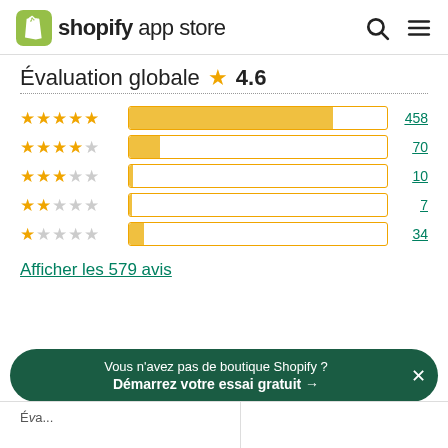[Figure (logo): Shopify App Store logo with shopping bag icon]
Évaluation globale ★ 4.6
[Figure (bar-chart): Rating distribution]
Afficher les 579 avis
Vous n'avez pas de boutique Shopify ? Démarrez votre essai gratuit →